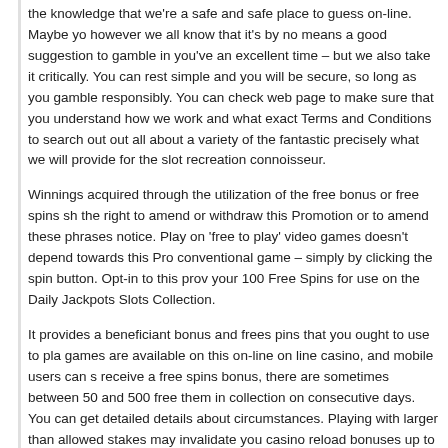the knowledge that we're a safe and safe place to guess on-line. Maybe yo however we all know that it's by no means a good suggestion to gamble in you've an excellent time – but we also take it critically. You can rest simple and you will be secure, so long as you gamble responsibly. You can check web page to make sure that you understand how we work and what exact Terms and Conditions to search out out all about a variety of the fantastic precisely what we will provide for the slot recreation connoisseur.
Winnings acquired through the utilization of the free bonus or free spins sh the right to amend or withdraw this Promotion or to amend these phrases notice. Play on 'free to play' video games doesn't depend towards this Pro conventional game – simply by clicking the spin button. Opt-in to this prov your 100 Free Spins for use on theDaily Jackpots Slots Collection.
It provides a beneficiant bonus and frees pins that you ought to use to pla games are available on this on-line on line casino, and mobile users can s receive a free spins bonus, there are sometimes between 50 and 500 free them in collection on consecutive days. You can get detailed details about circumstances. Playing with larger than allowed stakes may invalidate you casino reload bonuses up to one hundred pc are topic to 40 occasions wa
Did we mention that playing House of Fun on-line casino slot machines is